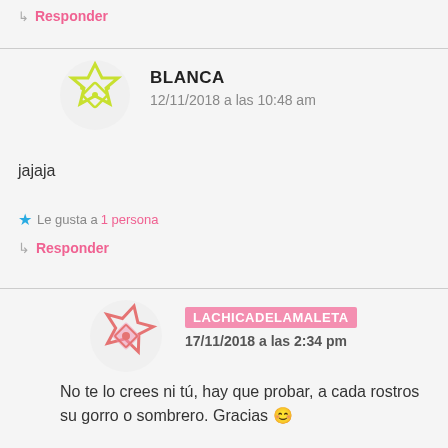↳ Responder
BLANCA
12/11/2018 a las 10:48 am
jajaja
★ Le gusta a 1 persona
↳ Responder
LACHICADELAMALETA
17/11/2018 a las 2:34 pm
No te lo crees ni tú, hay que probar, a cada rostros su gorro o sombrero. Gracias 😊